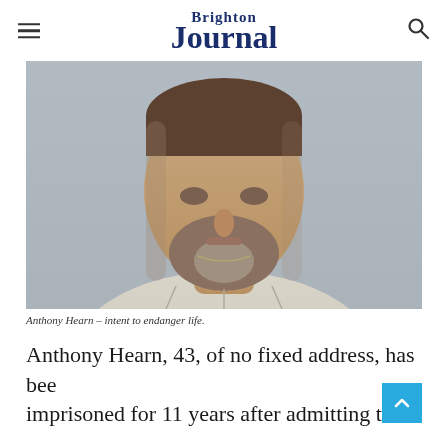Brighton Journal
[Figure (photo): Mugshot-style photo of Anthony Hearn, a middle-aged man with a salt-and-pepper goatee wearing a grey sweatshirt, photographed against a grey background.]
Anthony Hearn – intent to endanger life.
Anthony Hearn, 43, of no fixed address, has been imprisoned for 11 years after admitting to